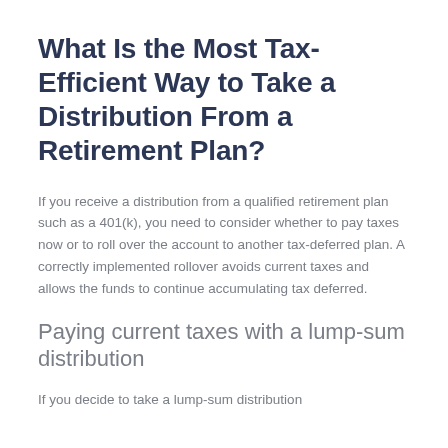What Is the Most Tax-Efficient Way to Take a Distribution From a Retirement Plan?
If you receive a distribution from a qualified retirement plan such as a 401(k), you need to consider whether to pay taxes now or to roll over the account to another tax-deferred plan. A correctly implemented rollover avoids current taxes and allows the funds to continue accumulating tax deferred.
Paying current taxes with a lump-sum distribution
If you decide to take a lump-sum distribution